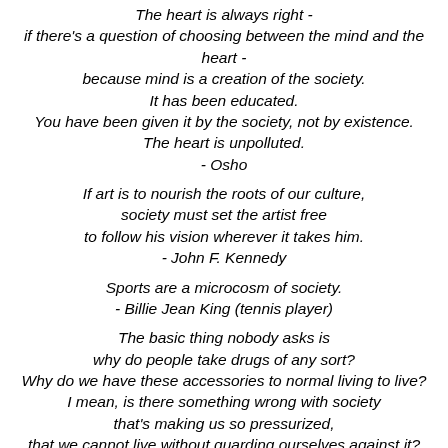The heart is always right - if there's a question of choosing between the mind and the heart - because mind is a creation of the society. It has been educated. You have been given it by the society, not by existence. The heart is unpolluted. - Osho
If art is to nourish the roots of our culture, society must set the artist free to follow his vision wherever it takes him. - John F. Kennedy
Sports are a microcosm of society. - Billie Jean King (tennis player)
The basic thing nobody asks is why do people take drugs of any sort? Why do we have these accessories to normal living to live? I mean, is there something wrong with society that's making us so pressurized, that we cannot live without guarding ourselves against it? - John Lennon